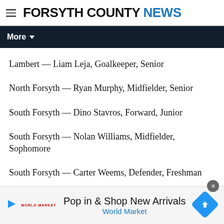FORSYTH COUNTY NEWS
Lambert — Liam Leja, Goalkeeper, Senior
North Forsyth — Ryan Murphy, Midfielder, Senior
South Forsyth — Dino Stavros, Forward, Junior
South Forsyth — Nolan Williams, Midfielder, Sophomore
South Forsyth — Carter Weems, Defender, Freshman
West Forsyth — Reid Campbell, Defender, Senior
West Forsyth — Nick Ferraro, Forward, Senior
[Figure (other): Advertisement banner: Pop in & Shop New Arrivals — World Market]